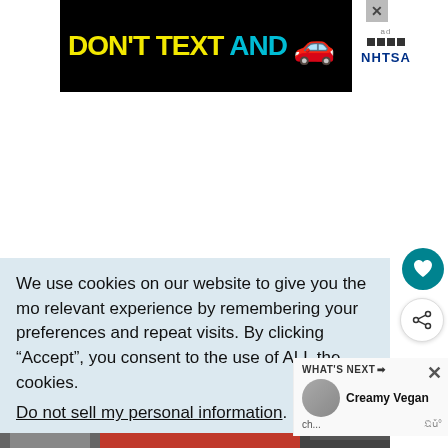[Figure (screenshot): NHTSA 'Don't Text and Drive' advertisement banner. Black background with yellow bold text 'DON'T TEXT' and cyan bold text 'AND', a red car emoji, and NHTSA logo in white box on the right. An X close button appears in the top right corner.]
We use cookies on our website to give you the most relevant experience by remembering your preferences and repeat visits. By clicking “Accept”, you consent to the use of ALL the cookies.
Do not sell my personal information.
[Figure (screenshot): Bottom advertisement banner with red background showing two cats (black and white cat on left, black cat on right) with text 'BEST FRIENDS FOREVER' with heart symbols. A close button appears on the right side. A 'What's Next - Creamy Vegan' panel appears in the bottom right.]